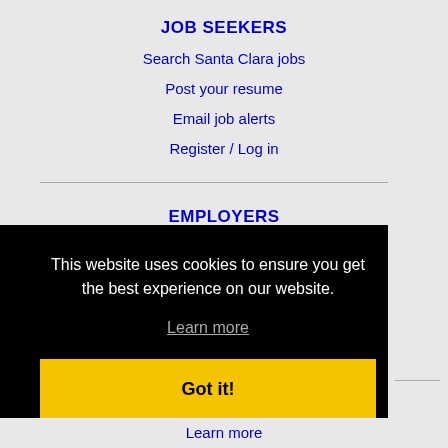JOB SEEKERS
Search Santa Clara jobs
Post your resume
Email job alerts
Register / Log in
EMPLOYERS
Post jobs
This website uses cookies to ensure you get the best experience on our website.
Learn more
Got it!
Learn more